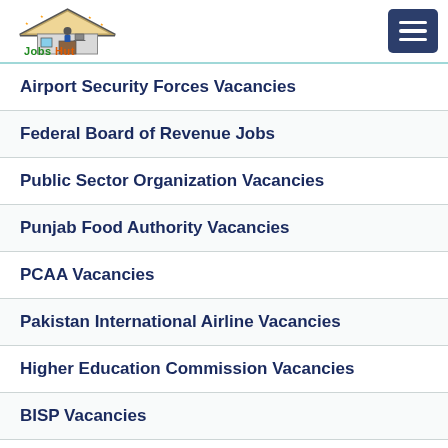Jobs Hut
Airport Security Forces Vacancies
Federal Board of Revenue Jobs
Public Sector Organization Vacancies
Punjab Food Authority Vacancies
PCAA Vacancies
Pakistan International Airline Vacancies
Higher Education Commission Vacancies
BISP Vacancies